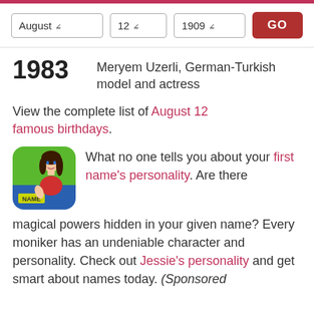[Figure (screenshot): Web page interface with dropdown controls: August (month), 12 (day), 1909 (year), and a red GO button]
1983   Meryem Uzerli, German-Turkish model and actress
View the complete list of August 12 famous birthdays.
[Figure (illustration): App icon showing animated girl character with long dark hair, red shirt, blue background, with NAME text at bottom]
What no one tells you about your first name's personality. Are there magical powers hidden in your given name? Every moniker has an undeniable character and personality. Check out Jessie's personality and get smart about names today. (Sponsored